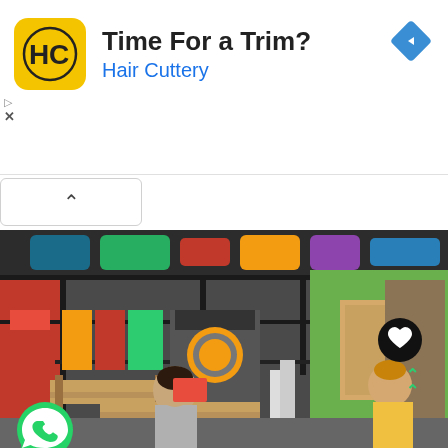[Figure (screenshot): Mobile app screenshot showing a Hair Cuttery advertisement banner at the top with the text 'Time For a Trim?' and 'Hair Cuttery', an HC logo in yellow, a navigation diamond icon, ad controls (play/close), a collapse chevron button, and a photo of an indoor children's playground with a woman seated on a bench, a toddler, WhatsApp icon, heart button, and up-arrow scroll indicator.]